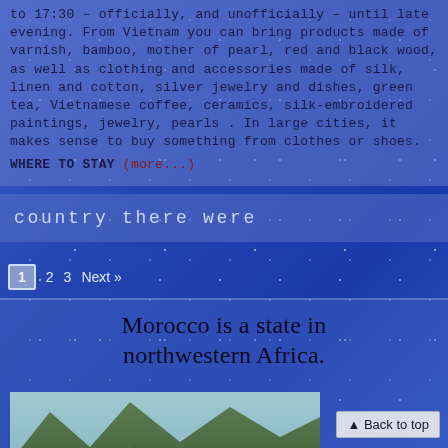to 17:30 – officially, and unofficially – until late evening. From Vietnam you can bring products made of varnish, bamboo, mother of pearl, red and black wood, as well as clothing and accessories made of silk, linen and cotton, silver jewelry and dishes, green tea, Vietnamese coffee, ceramics, silk-embroidered paintings, jewelry, pearls . In large cities, it makes sense to buy something from clothes or shoes.
WHERE TO STAY (more...)
country there were
1  2  3  Next »
Morocco is a state in northwestern Africa.
[Figure (photo): Landscape photo of green mountainous terrain in Morocco]
▲ Back to top